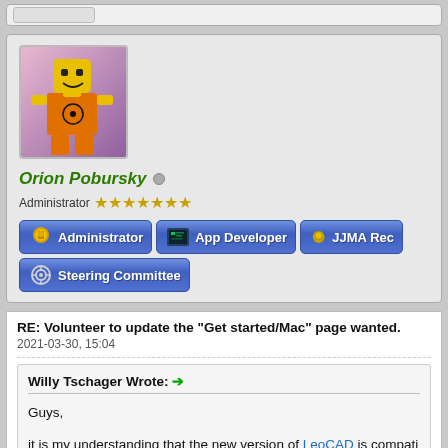[Figure (screenshot): Top navigation bar fragment with rounded button]
[Figure (photo): Lego figure avatar in yellow hazmat suit with radioactive symbol]
Orion Pobursky
Administrator ★★★★★★★
[Figure (infographic): Blue badge buttons: Administrator, App Developer, JJMA Rec..., Steering Committee]
RE: Volunteer to update the "Get started/Mac" page wanted.
2021-03-30, 15:04
Willy Tschager Wrote: →
Guys,
it is my understanding that the new version of LeoCAD is compati...